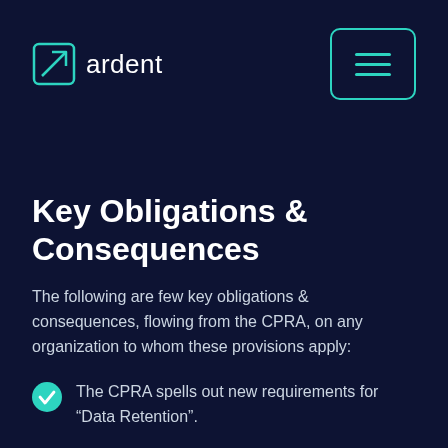ardent
Key Obligations & Consequences
The following are few key obligations & consequences, flowing from the CPRA, on any organization to whom these provisions apply:
The CPRA spells out new requirements for “Data Retention”.